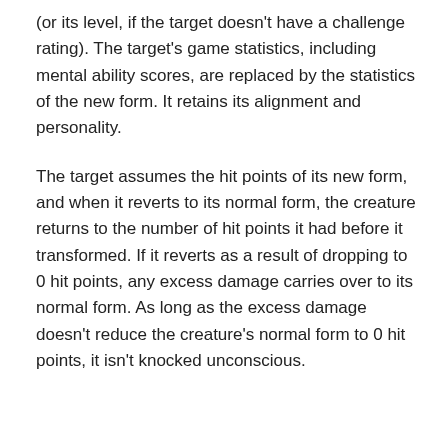(or its level, if the target doesn't have a challenge rating). The target's game statistics, including mental ability scores, are replaced by the statistics of the new form. It retains its alignment and personality.
The target assumes the hit points of its new form, and when it reverts to its normal form, the creature returns to the number of hit points it had before it transformed. If it reverts as a result of dropping to 0 hit points, any excess damage carries over to its normal form. As long as the excess damage doesn't reduce the creature's normal form to 0 hit points, it isn't knocked unconscious.